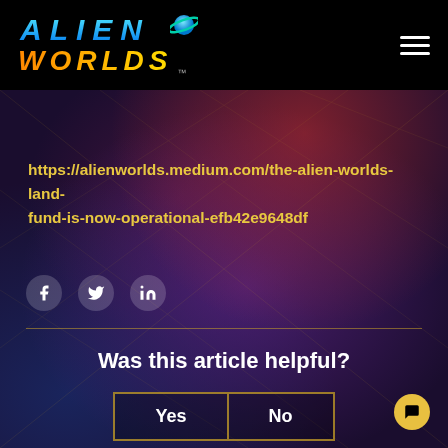[Figure (logo): Alien Worlds logo with planet icon, blue gradient ALIEN text and orange/gold WORLDS text on black background]
https://alienworlds.medium.com/the-alien-worlds-land-fund-is-now-operational-efb42e9648df
[Figure (other): Social share icons: Facebook, Twitter, LinkedIn as circular buttons]
Was this article helpful?
Yes   No